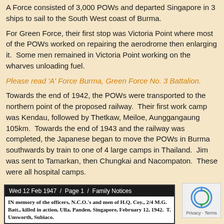A Force consisted of 3,000 POWs and departed Singapore in 3 ships to sail to the South West coast of Burma.
For Green Force, their first stop was Victoria Point where most of the POWs worked on repairing the aerodrome then enlarging it.  Some men remained in Victoria Point working on the wharves unloading fuel.
Please read 'A' Force Burma, Green Force No. 3 Battalion.
Towards the end of 1942, the POWs were transported to the northern point of the proposed railway.  Their first work camp was Kendau, followed by Thetkaw, Meiloe, Aunggangaung 105km.  Towards the end of 1943 and the railway was completed, the Japanese began to move the POWs in Burma southwards by train to one of 4 large camps in Thailand.  Jim was sent to Tamarkan, then Chungkai and Nacompaton.  These were all hospital camps.
[Figure (screenshot): Newspaper clipping header: Wed 12 Feb 1947 / Page 1 / Family Notices. Body text: IN memory of the officers, N.C.O.'s and men of H.Q. Coy., 2/4 M.G. Batt., killed in action, Ulla, Panden, Singapore, February 12, 1942. T. Unsworth, Subiaco.]
[Figure (logo): reCAPTCHA logo with Privacy - Terms text below]